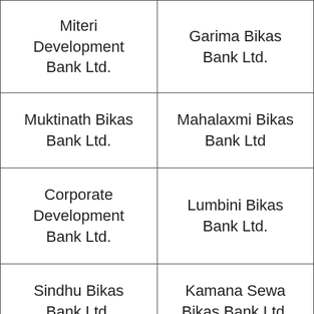| Miteri Development Bank Ltd. | Garima Bikas Bank Ltd. |
| Muktinath Bikas Bank Ltd. | Mahalaxmi Bikas Bank Ltd |
| Corporate Development Bank Ltd. | Lumbini Bikas Bank Ltd. |
| Sindhu Bikas Bank Ltd. | Kamana Sewa Bikas Bank Ltd. |
| Sahara Bikas | Saptakoshi |